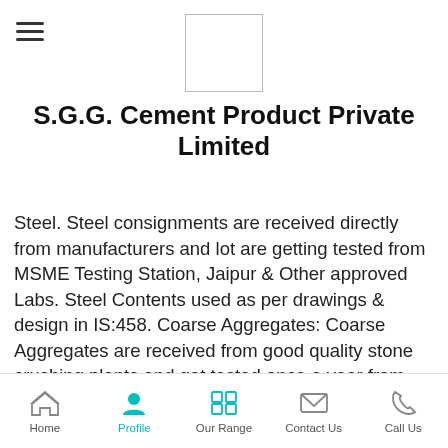S.G.G. Cement Product Private Limited
S.G.G. Cement Product Private Limited
Steel. Steel consignments are received directly from manufacturers and lot are getting tested from MSME Testing Station, Jaipur & Other approved Labs. Steel Contents used as per drawings & design in IS:458. Coarse Aggregates: Coarse Aggregates are received from good quality stone crushing plants and got tested once a year from MSME. Fine Aggregated: Fine Aggregates are received from Banas River which is known as the best source and also got tested from MSME once a year. Water: Water used for manufacturing & curing is received from self-tube well and the same is being
Home | Profile | Our Range | Contact Us | Call Us